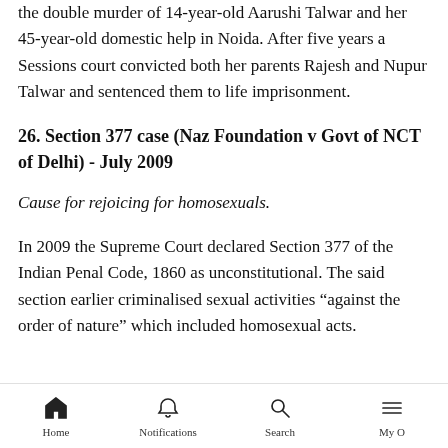the double murder of 14-year-old Aarushi Talwar and her 45-year-old domestic help in Noida. After five years a Sessions court convicted both her parents Rajesh and Nupur Talwar and sentenced them to life imprisonment.
26. Section 377 case (Naz Foundation v Govt of NCT of Delhi) - July 2009
Cause for rejoicing for homosexuals.
In 2009 the Supreme Court declared Section 377 of the Indian Penal Code, 1860 as unconstitutional. The said section earlier criminalised sexual activities “against the order of nature” which included homosexual acts.
Home | Notifications | Search | My O